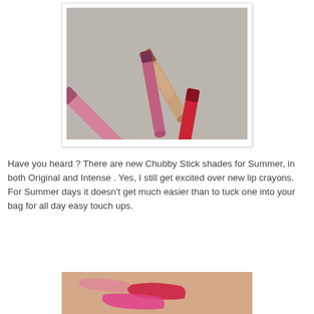[Figure (photo): Photo of several Chubby Stick lip crayons in various shades including nude/tan, pink, and red, displayed on a light grey background]
Have you heard ? There are new Chubby Stick shades for Summer, in both Original and Intense . Yes, I still get excited over new lip crayons. For Summer days it doesn't get much easier than to tuck one into your bag for all day easy touch ups.
[Figure (photo): Close-up photo of arm swatches of lip crayon colors showing pink and red shades on skin]